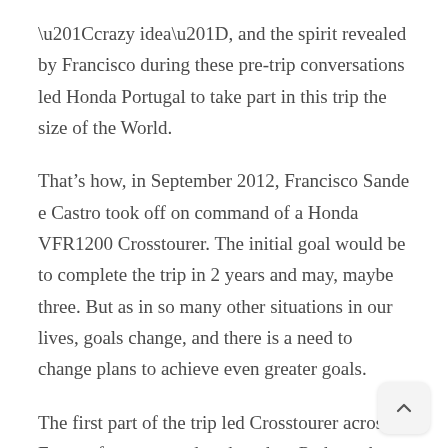“crazy idea”, and the spirit revealed by Francisco during these pre-trip conversations led Honda Portugal to take part in this trip the size of the World.
That’s how, in September 2012, Francisco Sande e Castro took off on command of a Honda VFR1200 Crosstourer. The initial goal would be to complete the trip in 2 years and may, maybe three. But as in so many other situations in our lives, goals change, and there is a need to change plans to achieve even greater goals.
The first part of the trip led Crosstourer across Europe from one end to the other. Perhaps the